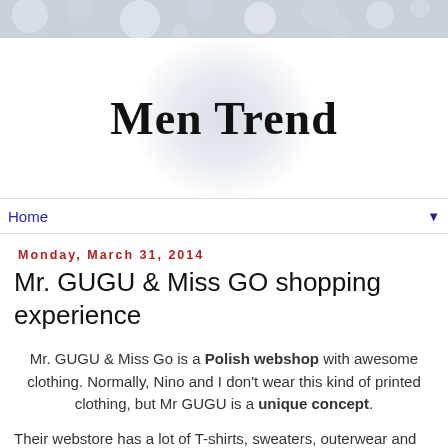[Figure (photo): Blurred bokeh header image with light and dark gray tones]
Men Trend
Home ▼
Monday, March 31, 2014
Mr. GUGU & Miss GO shopping experience
Mr. GUGU & Miss Go is a Polish webshop with awesome clothing. Normally, Nino and I don't wear this kind of printed clothing, but Mr GUGU is a unique concept.
Their webstore has a lot of T-shirts, sweaters, outerwear and